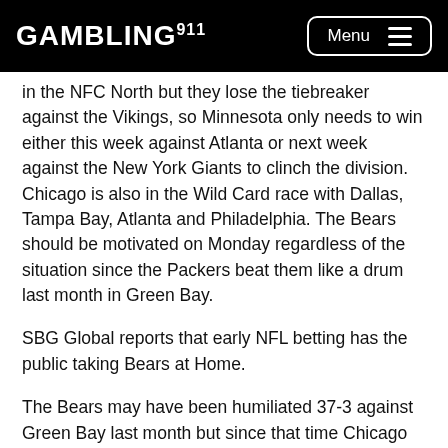GAMBLING911 Menu
in the NFC North but they lose the tiebreaker against the Vikings, so Minnesota only needs to win either this week against Atlanta or next week against the New York Giants to clinch the division.  Chicago is also in the Wild Card race with Dallas, Tampa Bay, Atlanta and Philadelphia. The Bears should be motivated on Monday regardless of the situation since the Packers beat them like a drum last month in Green Bay.
SBG Global reports that early NFL betting has the public taking Bears at Home.
The Bears may have been humiliated 37-3 against Green Bay last month but since that time Chicago has won three of their last four while the Packers have lost four in a row to fall out of the playoff race.  The Packers have blown fourth quarter leads in their last